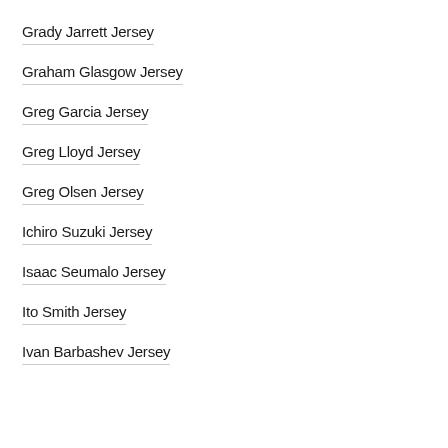Grady Jarrett Jersey
Graham Glasgow Jersey
Greg Garcia Jersey
Greg Lloyd Jersey
Greg Olsen Jersey
Ichiro Suzuki Jersey
Isaac Seumalo Jersey
Ito Smith Jersey
Ivan Barbashev Jersey